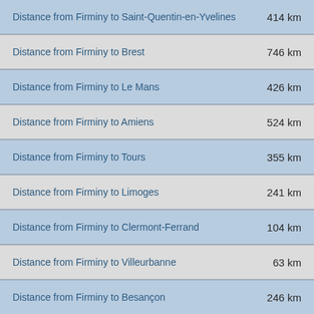| Route | Distance |
| --- | --- |
| Distance from Firminy to Saint-Quentin-en-Yvelines | 414 km |
| Distance from Firminy to Brest | 746 km |
| Distance from Firminy to Le Mans | 426 km |
| Distance from Firminy to Amiens | 524 km |
| Distance from Firminy to Tours | 355 km |
| Distance from Firminy to Limoges | 241 km |
| Distance from Firminy to Clermont-Ferrand | 104 km |
| Distance from Firminy to Villeurbanne | 63 km |
| Distance from Firminy to Besançon | 246 km |